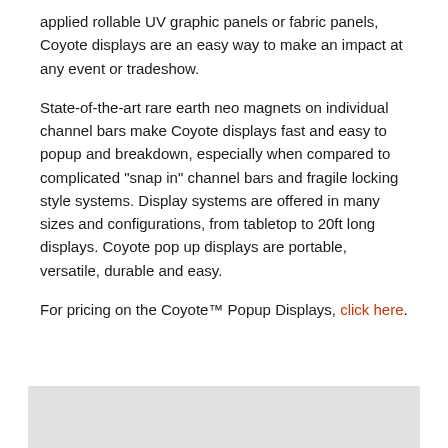applied rollable UV graphic panels or fabric panels, Coyote displays are an easy way to make an impact at any event or tradeshow.
State-of-the-art rare earth neo magnets on individual channel bars make Coyote displays fast and easy to popup and breakdown, especially when compared to complicated "snap in" channel bars and fragile locking style systems. Display systems are offered in many sizes and configurations, from tabletop to 20ft long displays. Coyote pop up displays are portable, versatile, durable and easy.
For pricing on the Coyote™ Popup Displays, click here.
[Figure (other): Gray rectangular box at the bottom of the page]